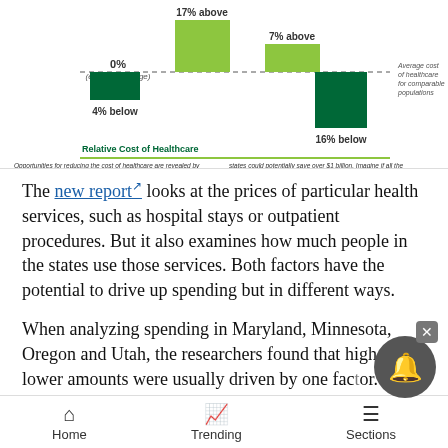[Figure (bar-chart): Bar chart showing relative cost of healthcare across states. Values shown: 17% above, 0% (equal to average), 7% above, 4% below, 16% below. Dashed line represents average cost of healthcare for comparable populations.]
The new report looks at the prices of particular health services, such as hospital stays or outpatient procedures. But it also examines how much people in the states use those services. Both factors have the potential to drive up spending but in different ways.
When analyzing spending in Maryland, Minnesota, Oregon and Utah, the researchers found that higher or lower amounts were usually driven by one factor. Maryland's lower-than-average spending was driven
Home   Trending   Sections